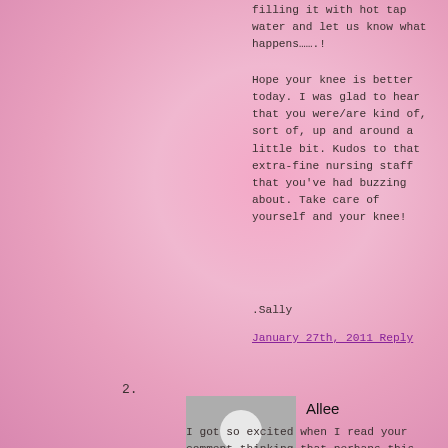filling it with hot tap water and let us know what happens…….!
Hope your knee is better today. I was glad to hear that you were/are kind of, sort of, up and around a little bit. Kudos to that extra-fine nursing staff that you've had buzzing about. Take care of yourself and your knee!
.Sally
January 27th, 2011 Reply
2.
[Figure (illustration): Generic user avatar - grey square with white silhouette of a person]
Allee
I got so excited when I read your comment thinking that perhaps this ugly mess of a cup actually has some